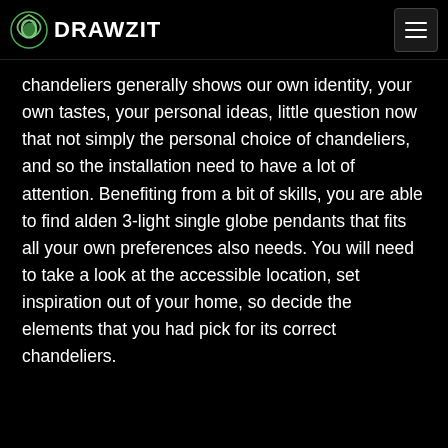DRAWZIT
chandeliers generally shows our own identity, your own tastes, your personal ideas, little question now that not simply the personal choice of chandeliers, and so the installation need to have a lot of attention. Benefiting from a bit of skills, you are able to find alden 3-light single globe pendants that fits all your own preferences also needs. You will need to take a look at the accessible location, set inspiration out of your home, so decide the elements that you had pick for its correct chandeliers.